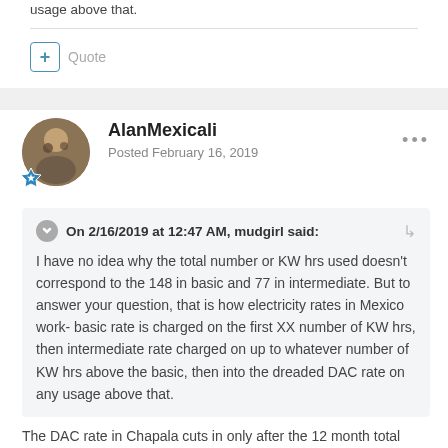usage above that.
Quote
AlanMexicali
Posted February 16, 2019
On 2/16/2019 at 12:47 AM, mudgirl said:
I have no idea why the total number or KW hrs used doesn't correspond to the 148 in basic and 77 in intermediate. But to answer your question, that is how electricity rates in Mexico work- basic rate is charged on the first XX number of KW hrs, then intermediate rate charged on up to whatever number of KW hrs above the basic, then into the dreaded DAC rate on any usage above that.
The DAC rate in Chapala cuts in only after the 12 month total